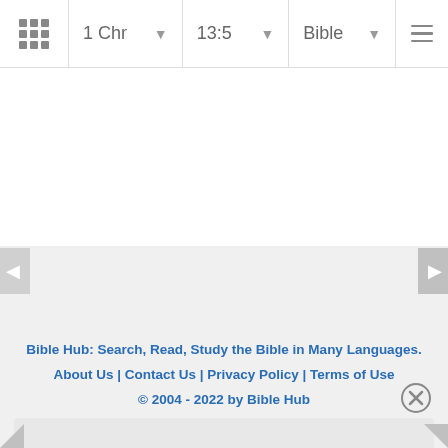1 Chr | 13:5 | Bible
Bible Hub: Search, Read, Study the Bible in Many Languages.
About Us | Contact Us | Privacy Policy | Terms of Use
© 2004 - 2022 by Bible Hub